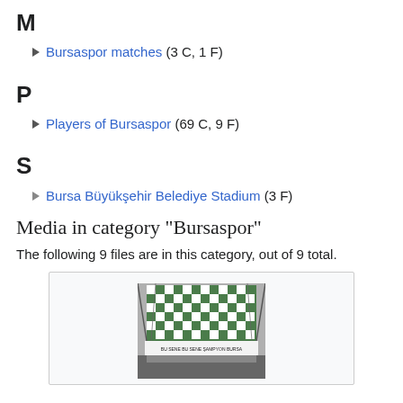M
Bursaspor matches (3 C, 1 F)
P
Players of Bursaspor (69 C, 9 F)
S
Bursa Büyükşehir Belediye Stadium (3 F)
Media in category "Bursaspor"
The following 9 files are in this category, out of 9 total.
[Figure (photo): A stadium interior showing a large green and white checkered banner/flag hanging from the roof structure, with text on a banner below it. Crowd visible underneath.]